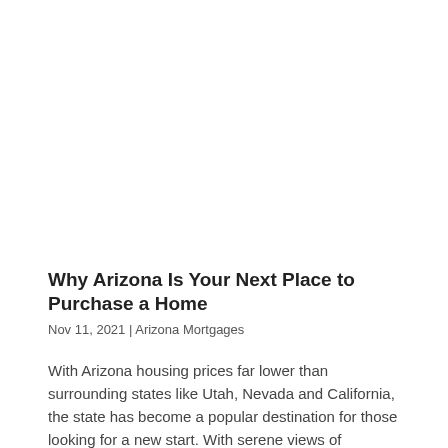Why Arizona Is Your Next Place to Purchase a Home
Nov 11, 2021 | Arizona Mortgages
With Arizona housing prices far lower than surrounding states like Utah, Nevada and California, the state has become a popular destination for those looking for a new start. With serene views of